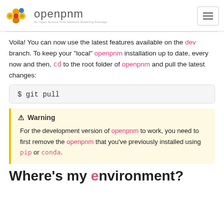openpnm - An Open Source Pore Network Modeling Package
Voila! You can now use the latest features available on the dev branch. To keep your “local” openpnm installation up to date, every now and then, cd to the root folder of openpnm and pull the latest changes:
Warning
For the development version of openpnm to work, you need to first remove the openpnm that you’ve previously installed using pip or conda.
Where’s my environment?